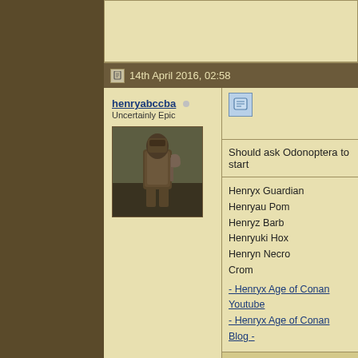14th April 2016, 02:58
henryabccba
Uncertainly Epic
[Figure (photo): Avatar image of a warrior character in dark armored fantasy setting]
Should ask Odonoptera to start
Henryx Guardian
Henryau Pom
Henryz Barb
Henryuki Hox
Henryn Necro
Crom
- Henryx Age of Conan Youtube
- Henryx Age of Conan Blog -
14th April 2016, 03:00
Mustaine